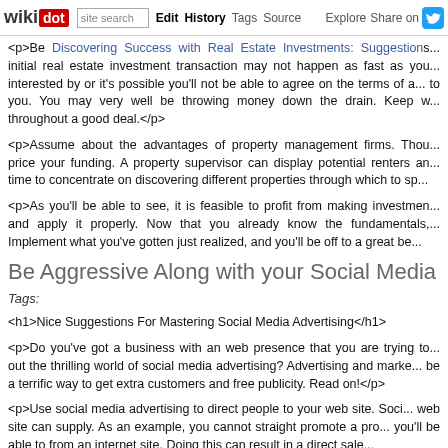wikidot | Edit | History | Tags | Source | Explore | Share on [Twitter]
<p>Be Discovering Success with Real Estate Investments: Suggestions... initial real estate investment transaction may not happen as fast as you... interested by or it's possible you'll not be able to agree on the terms of a... to you. You may very well be throwing money down the drain. Keep w... throughout a good deal.</p>
<p>Assume about the advantages of property management firms. Thou... price your funding. A property supervisor can display potential renters an... time to concentrate on discovering different properties through which to sp...</p>
<p>As you'll be able to see, it is feasible to profit from making investmen... and apply it properly. Now that you already know the fundamentals,... Implement what you've gotten just realized, and you'll be off to a great be...</p>
Be Aggressive Along with your Social Media Adve...
Tags:
<h1>Nice Suggestions For Mastering Social Media Advertising</h1>
<p>Do you've got a business with an web presence that you are trying to... out the thrilling world of social media advertising? Advertising and marke... be a terrific way to get extra customers and free publicity. Read on!</p>
<p>Use social media advertising to direct people to your web site. Soci... web site can supply. As an example, you cannot straight promote a pro... you'll be able to from an internet site. Doing this can result in a direct sale...</p>
<p>Perceive that expertise is driving social media and vice versa. Every...